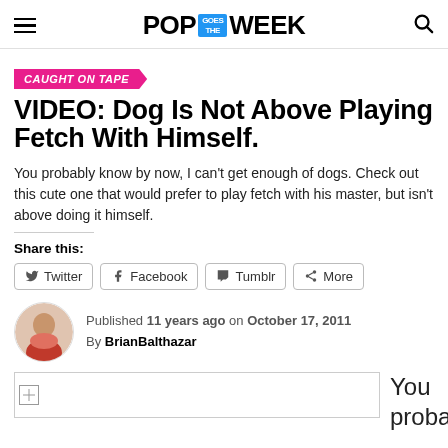POP GOES THE WEEK
CAUGHT ON TAPE
VIDEO: Dog Is Not Above Playing Fetch With Himself.
You probably know by now, I can’t get enough of dogs. Check out this cute one that would prefer to play fetch with his master, but isn’t above doing it himself.
Share this:
Twitter  Facebook  Tumblr  More
Published 11 years ago on October 17, 2011
By BrianBalthazar
[Figure (photo): Small broken image placeholder at the bottom left]
You probably